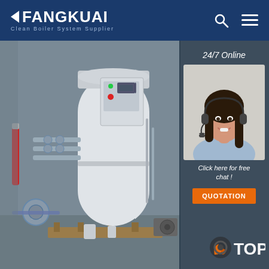FANGKUAI Clean Boiler System Supplier
[Figure (photo): Industrial vertical steam boiler system with control panel, piping, valves, and associated equipment in a factory setting]
24/7 Online
[Figure (photo): Female customer service representative wearing a headset, smiling]
Click here for free chat !
QUOTATION
[Figure (illustration): TOP badge/emblem with orange flame and gear graphic at bottom right corner]